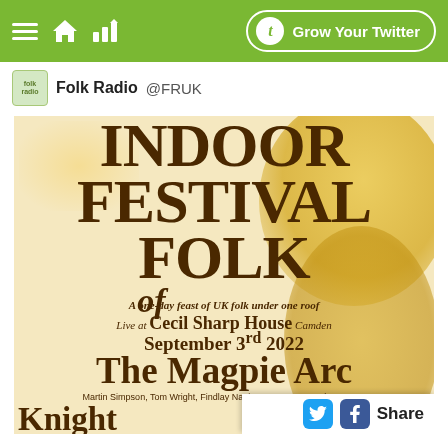Grow Your Twitter
Folk Radio @FRUK
[Figure (photo): Indoor Festival of Folk event poster for Cecil Sharp House Camden, September 3rd 2022, featuring The Magpie Arc (Martin Simpson, Tom Wright, Findlay Napier, Nancy Kerr & Alex Hunter), Knight & Spiers, and Bella Hardy. Cream/yellow background with decorative yellow-orange blobs.]
Share